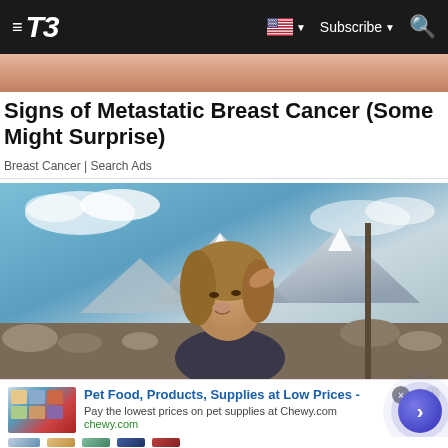T3 — Subscribe | Search
[Figure (photo): Partial peach/skin tone image strip at top of page]
Signs of Metastatic Breast Cancer (Some Might Surprise)
Breast Cancer | Search Ads
[Figure (photo): Smiling woman with curly hair outdoors in a mountainous rocky landscape, blue sky with clouds]
[Figure (infographic): Advertisement: Pet Food, Products, Supplies at Low Prices - Chewy.com. Pay the lowest prices on pet supplies at Chewy.com. chewy.com. With CTA button arrow.]
[Figure (other): Row of small product icon thumbnails at bottom]